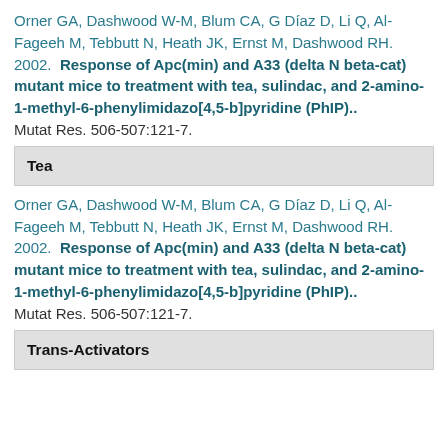Orner GA, Dashwood W-M, Blum CA, G Díaz D, Li Q, Al-Fageeh M, Tebbutt N, Heath JK, Ernst M, Dashwood RH. 2002.  Response of Apc(min) and A33 (delta N beta-cat) mutant mice to treatment with tea, sulindac, and 2-amino-1-methyl-6-phenylimidazo[4,5-b]pyridine (PhIP).. Mutat Res. 506-507:121-7.
Tea
Orner GA, Dashwood W-M, Blum CA, G Díaz D, Li Q, Al-Fageeh M, Tebbutt N, Heath JK, Ernst M, Dashwood RH. 2002.  Response of Apc(min) and A33 (delta N beta-cat) mutant mice to treatment with tea, sulindac, and 2-amino-1-methyl-6-phenylimidazo[4,5-b]pyridine (PhIP).. Mutat Res. 506-507:121-7.
Trans-Activators